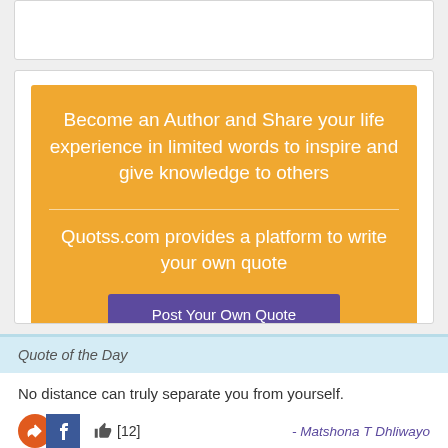[Figure (screenshot): Top white card area (partially visible, cropped at top of page)]
Become an Author and Share your life experience in limited words to inspire and give knowledge to others
Quotss.com provides a platform to write your own quote
Post Your Own Quote
Quote of the Day
No distance can truly separate you from yourself.
[12]
- Matshona T Dhliwayo